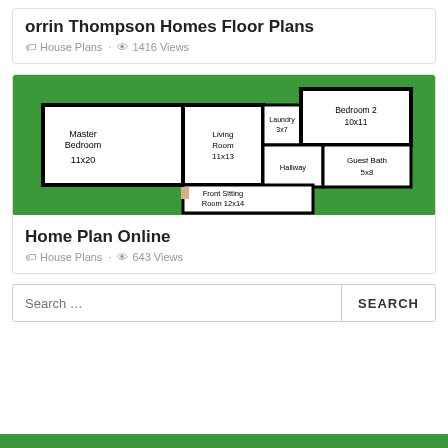orrin Thompson Homes Floor Plans
House Plans · 1416 Views
[Figure (illustration): Floor plan diagram showing Master Bedroom 11x20, Living Room 11x13, Laundry 3x7, Bedroom 2 10x11, Hallway, Guest Bath 5x8, Front Sitting Room 12x14, on a green background]
Home Plan Online
House Plans · 643 Views
Search …
SEARCH